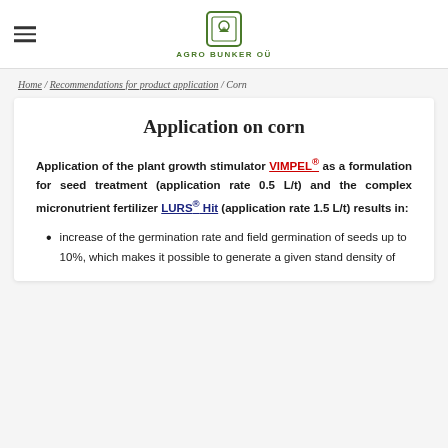AGRO BUNKER OÜ
Home / Recommendations for product application / Corn
Application on corn
Application of the plant growth stimulator VIMPEL® as a formulation for seed treatment (application rate 0.5 L/t) and the complex micronutrient fertilizer LURS® Hit (application rate 1.5 L/t) results in:
increase of the germination rate and field germination of seeds up to 10%, which makes it possible to generate a given stand density of